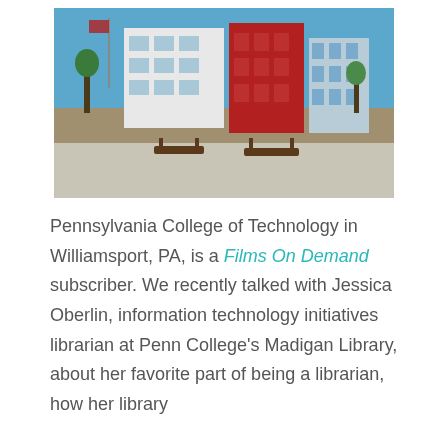[Figure (photo): Exterior photo of Pennsylvania College of Technology campus building in Williamsport, PA, showing a modern white and red building with benches and landscaping in the foreground under a clear blue sky.]
Pennsylvania College of Technology in Williamsport, PA, is a Films On Demand subscriber. We recently talked with Jessica Oberlin, information technology initiatives librarian at Penn College's Madigan Library, about her favorite part of being a librarian, how her library